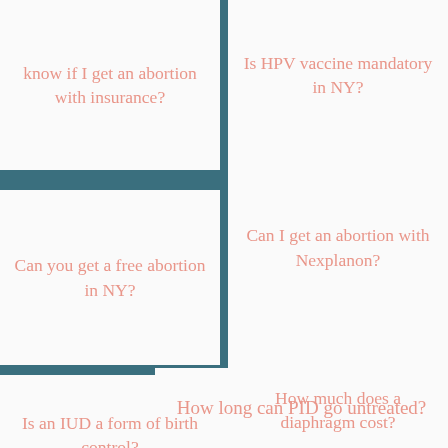know if I get an abortion with insurance?
Is HPV vaccine mandatory in NY?
Can you get a free abortion in NY?
Can I get an abortion with Nexplanon?
Is an IUD a form of birth control?
How much does a diaphragm cost?
What is the abortion pill?
How can I terminate an early ectopic pregnancy?
How long can PID go untreated?